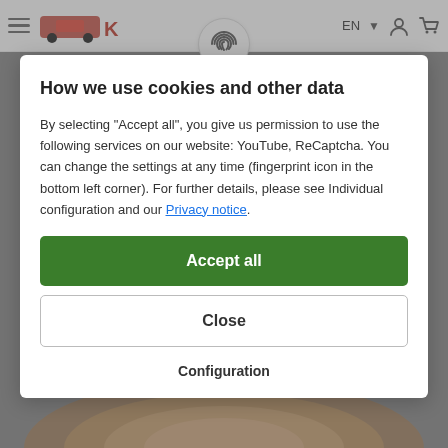EN — navigation header with logo, hamburger menu, language selector, user icon, cart icon
How we use cookies and other data
By selecting "Accept all", you give us permission to use the following services on our website: YouTube, ReCaptcha. You can change the settings at any time (fingerprint icon in the bottom left corner). For further details, please see Individual configuration and our Privacy notice.
Accept all
Close
Configuration